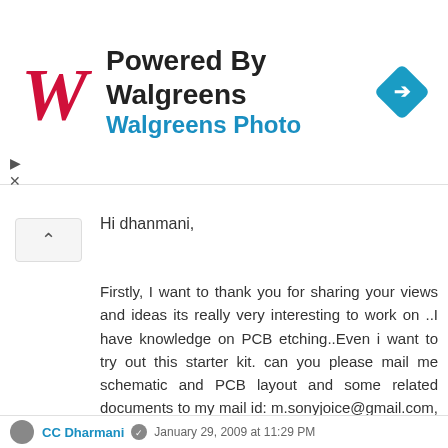[Figure (screenshot): Powered By Walgreens / Walgreens Photo advertisement banner with Walgreens cursive W logo in red and a blue diamond navigation icon on the right]
Hi dhanmani,
Firstly, I want to thank you for sharing your views and ideas its really very interesting to work on ..I have knowledge on PCB etching..Even i want to try out this starter kit. can you please mail me schematic and PCB layout and some related documents to my mail id: m.sonyjoice@gmail.com, and also can you please send me the source code using CodeVisionAVR as I'm not comfortable in using ICCAVR.
Thanks in Advance.
Regards,
Sony
Reply
CC Dharmani  January 29, 2009 at 11:29 PM